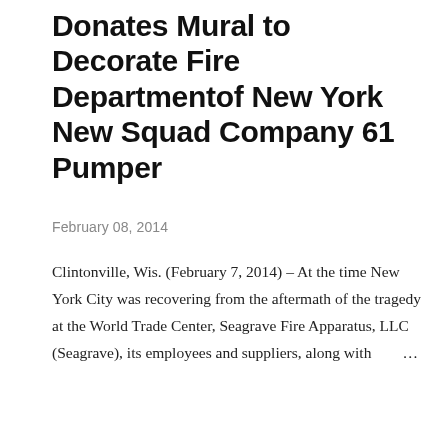Donates Mural to Decorate Fire Departmentof New York New Squad Company 61 Pumper
February 08, 2014
Clintonville, Wis. (February 7, 2014) – At the time New York City was recovering from the aftermath of the tragedy at the World Trade Center, Seagrave Fire Apparatus, LLC (Seagrave), its employees and suppliers, along with …
SHARE   POST A COMMENT   READ MORE
[Figure (photo): Exterior photograph of a building with rooftops visible, taken in a residential or light industrial area in winter with bare trees visible.]